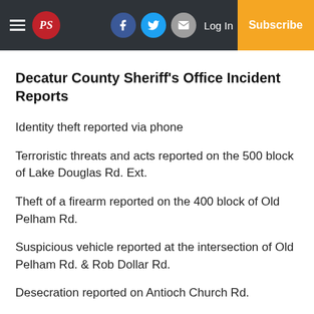PS | Log In | Subscribe
Decatur County Sheriff's Office Incident Reports
Identity theft reported via phone
Terroristic threats and acts reported on the 500 block of Lake Douglas Rd. Ext.
Theft of a firearm reported on the 400 block of Old Pelham Rd.
Suspicious vehicle reported at the intersection of Old Pelham Rd. & Rob Dollar Rd.
Desecration reported on Antioch Church Rd.